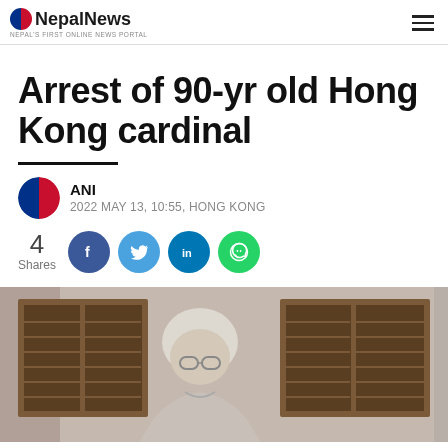NepалNews — NEPAL'S FIRST ONLINE NEWS PORTAL
Arrest of 90-yr old Hong Kong cardinal
ANI
2022 MAY 13, 10:55, HONG KONG
4 Shares
[Figure (photo): Elderly man with white hair and glasses standing in front of wooden-shuttered windows on a building exterior]